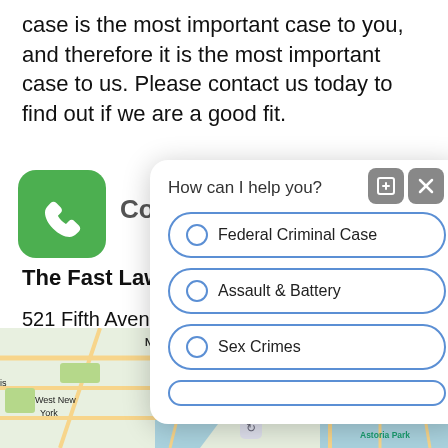case is the most important case to you, and therefore it is the most important case to us. Please contact us today to find out if we are a good fit.
[Figure (screenshot): Chat popup widget overlaying the page with question 'How can I help you?' and radio button options: Federal Criminal Case, Assault & Battery, Sex Crimes, and a partially visible fourth option. Two control buttons (open and close) in top right.]
Contact Us Today
The Fast Law Firm
521 Fifth Avenue, 17...
New York, NY 10175
Phone: (212)729-949...
[Figure (map): Google Maps view showing New York City area including North Bergen, West New York, Museum of the City of New York, Randall's Island, and Astoria Park.]